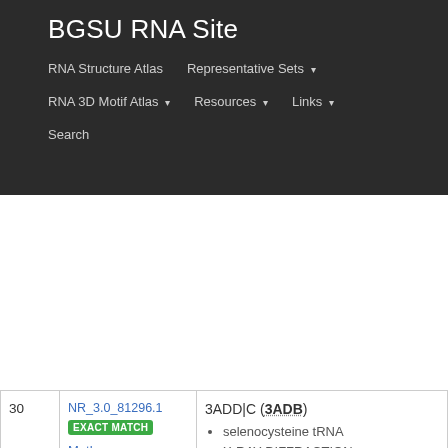BGSU RNA Site
RNA Structure Atlas | Representative Sets ▾ | RNA 3D Motif Atlas ▾ | Resources ▾ | Links ▾ | Search
| # | ID / Match / Species | PDB Entry Details |
| --- | --- | --- |
| 30 | NR_3.0_81296.1
EXACT MATCH
Methanopyrus kandleri | 3ADD|C (3ADB)
selenecysteine tRNA
X-RAY DIFFRACTION
Chain(s): ; model(s): C
Release Date: 2010-07-28 |
| 31 | NR_3.0_22918.2
EXACT MATCH
Homo sapiens | 3RG5|A (3A3A)
selenecysteine tRNA, tRNASec, tRNA(Sec)
X-RAY DIFFRACTION
Chain(s): ; model(s): A
Release Date: 2009-08-11 |
| 32 | NR_3.0_66332.1
EXACT MATCH | 3SD3|A (3SD3)
Tetrahydrofolate riboswitch
X-RAY DIFFRACTION
Chain(s): ; model(s): A |